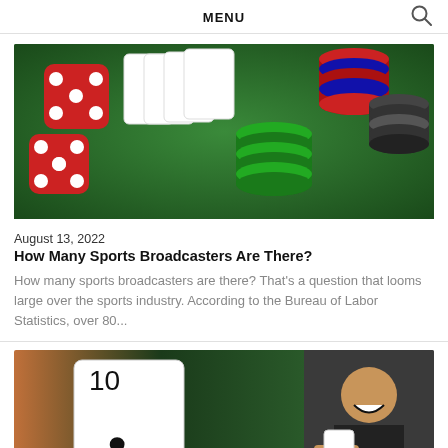MENU
[Figure (photo): Casino dice and poker chips on green felt table]
August 13, 2022
How Many Sports Broadcasters Are There?
How many sports broadcasters are there? That's a question that looms large over the sports industry. According to the Bureau of Labor Statistics, over 80...
[Figure (photo): Playing cards with clubs suit and man in suit laughing with cards]
February 14, 2023